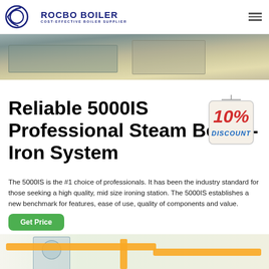ROCBO BOILER - COST-EFFECTIVE BOILER SUPPLIER
[Figure (photo): Industrial boiler/ironing machinery in a facility, gray-toned photo showing equipment on a floor]
Reliable 5000IS Professional Steam Boiler - Iron System
[Figure (infographic): 10% DISCOUNT badge hanging sign]
The 5000IS is the #1 choice of professionals. It has been the industry standard for those seeking a high quality, mid size ironing station. The 5000IS establishes a new benchmark for features, ease of use, quality of components and value.
Get Price
[Figure (photo): Industrial boiler equipment with yellow pipes, green/white background]